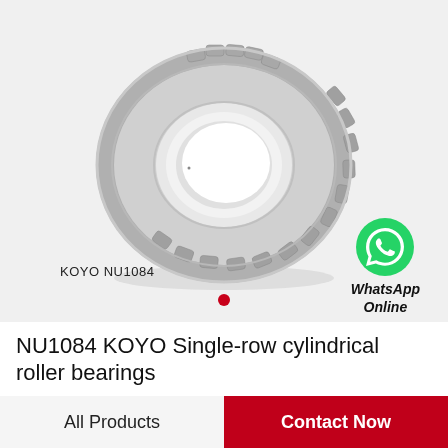[Figure (photo): Photo of a KOYO NU1084 single-row cylindrical roller bearing, metallic silver, viewed at an angle showing the outer ring with rollers and inner bore.]
KOYO NU1084
[Figure (logo): WhatsApp green phone icon logo with text 'WhatsApp Online' below it.]
NU1084 KOYO Single-row cylindrical roller bearings
All Products
Contact Now